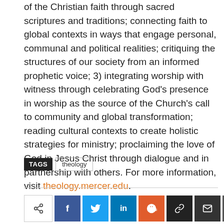of the Christian faith through sacred scriptures and traditions; connecting faith to global contexts in ways that engage personal, communal and political realities; critiquing the structures of our society from an informed prophetic voice; 3) integrating worship with witness through celebrating God's presence in worship as the source of the Church's call to community and global transformation; reading cultural contexts to create holistic strategies for ministry; proclaiming the love of God in Jesus Christ through dialogue and in partnership with others. For more information, visit theology.mercer.edu.
TAGS  theology